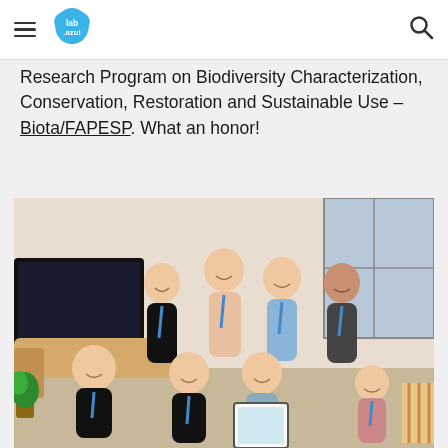lab.azul [logo]
Research Program on Biodiversity Characterization, Conservation, Restoration and Sustainable Use – Biota/FAPESP. What an honor!
[Figure (photo): Group photo of seven young people (lab team) holding lanyards and a framed certificate/award, smiling in an indoor setting.]